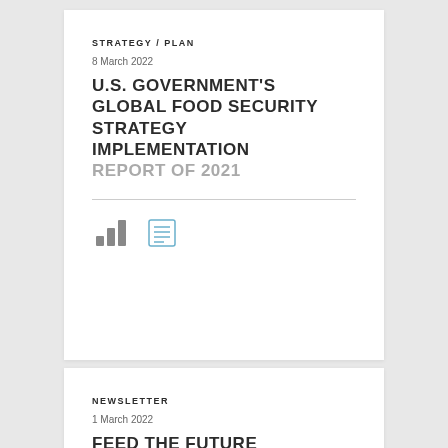STRATEGY / PLAN
8 March 2022
U.S. GOVERNMENT'S GLOBAL FOOD SECURITY STRATEGY IMPLEMENTATION
REPORT OF 2021
[Figure (infographic): Bar chart icon and list/document icon representing data and report resources]
NEWSLETTER
1 March 2022
FEED THE FUTURE NEWSLETTER, ISSUE